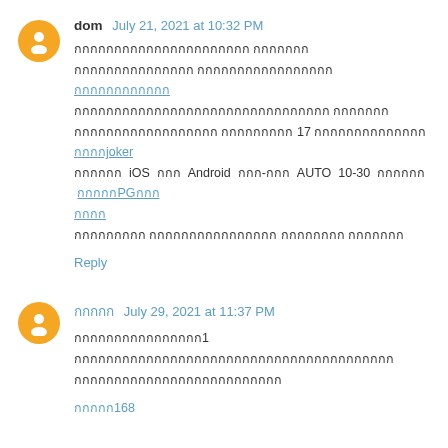dom July 21, 2021 at 10:32 PM
Thai text comment body with links including joker and PGSLOT references, iOS and Android AUTO 10-30
Reply
Thai username July 29, 2021 at 11:37 PM
Thai text comment body with reference to 168